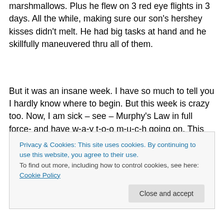marshmallows. Plus he flew on 3 red eye flights in 3 days. All the while, making sure our son's hershey kisses didn't melt. He had big tasks at hand and he skillfully maneuvered thru all of them.
But it was an insane week. I have so much to tell you I hardly know where to begin. But this week is crazy too. Now, I am sick – see – Murphy's Law in full force- and have w-a-y t-o-o m-u-c-h going on. This week might be
Privacy & Cookies: This site uses cookies. By continuing to use this website, you agree to their use.
To find out more, including how to control cookies, see here: Cookie Policy
Close and accept